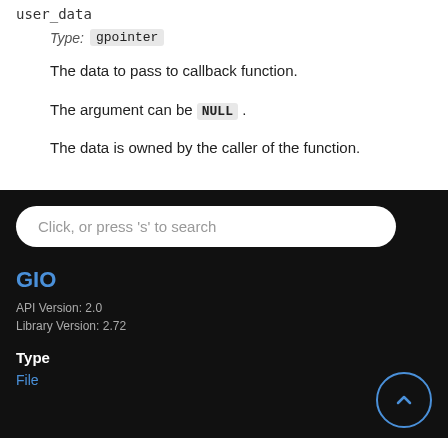user_data
Type: gpointer
The data to pass to callback function.
The argument can be NULL.
The data is owned by the caller of the function.
Click, or press 's' to search
GIO
API Version: 2.0
Library Version: 2.72
Type
File